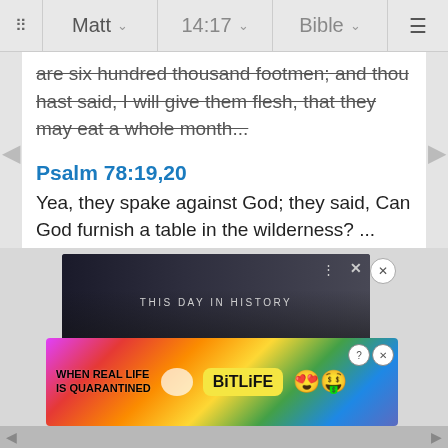Matt  14:17  Bible
are six hundred thousand footmen; and thou hast said, I will give them flesh, that they may eat a whole month...
Psalm 78:19,20
Yea, they spake against God; they said, Can God furnish a table in the wilderness? ...
[Figure (screenshot): THIS DAY IN HISTORY popup ad over dark background with people]
[Figure (screenshot): BitLife mobile app advertisement with rainbow gradient background: WHEN REAL LIFE IS QUARANTINED with BitLife logo and emoji icons]